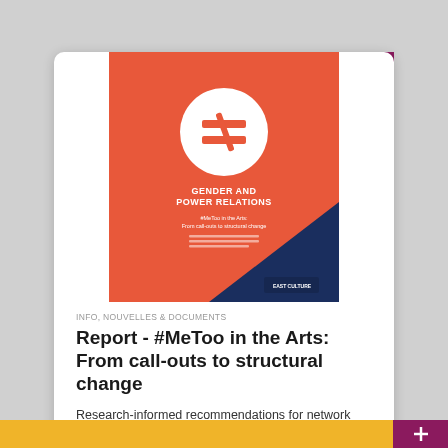[Figure (illustration): Book cover for 'Gender and Power Relations – #MeToo in the Arts: From call-outs to structural change'. Orange and dark blue cover with a circular logo at top and East Culture branding at bottom right.]
INFO, NOUVELLES & DOCUMENTS
Report - #MeToo in the Arts: From call-outs to structural change
Research-informed recommendations for network organisations on combating sexual harassment and power abuse in the
Date du contenu 08/2022